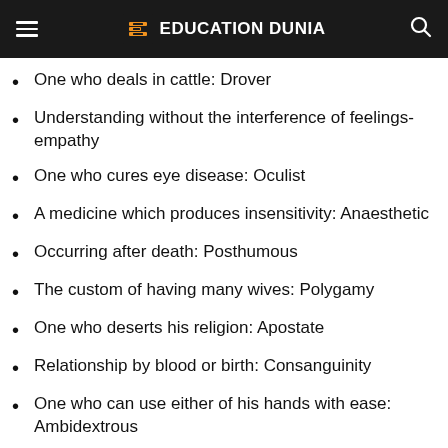EDUCATION DUNIA
One who deals in cattle: Drover
Understanding without the interference of feelings- empathy
One who cures eye disease: Oculist
A medicine which produces insensitivity: Anaesthetic
Occurring after death: Posthumous
The custom of having many wives: Polygamy
One who deserts his religion: Apostate
Relationship by blood or birth: Consanguinity
One who can use either of his hands with ease: Ambidextrous
A short walk for pleasure or exercise: Promenade